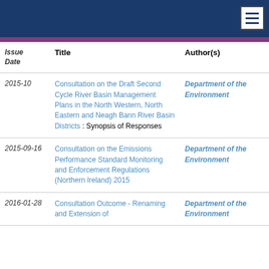| Issue Date | Title | Author(s) |
| --- | --- | --- |
| 2015-10 | Consultation on the Draft Second Cycle River Basin Management Plans in the North Western, North Eastern and Neagh Bann River Basin Districts : Synopsis of Responses | Department of the Environment |
| 2015-09-16 | Consultation on the Emissions Performance Standard Monitoring and Enforcement Regulations (Northern Ireland) 2015 | Department of the Environment |
| 2016-01-28 | Consultation Outcome - Renaming and Extension of... | Department of the Environment |